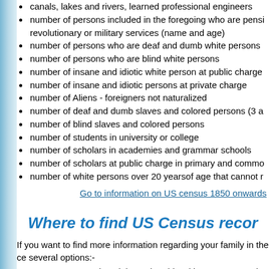canals, lakes and rivers, learned professional engineers
number of persons included in the foregoing who are pensioned for revolutionary or military services (name and age)
number of persons who are deaf and dumb white persons
number of persons who are blind white persons
number of insane and idiotic white person at public charge
number of insane and idiotic persons at private charge
number of Aliens - foreigners not naturalized
number of deaf and dumb slaves and colored persons (3 a
number of blind slaves and colored persons
number of students in university or college
number of scholars in academies and grammar schools
number of scholars at public charge in primary and commo
number of white persons over 20 yearsof age that cannot r
Go to information on US census 1850 onwards
Where to find US Census recor
If you want to find more information regarding your family in the ce several options:-
You can try a 14 day trial membership with ancestry.com be